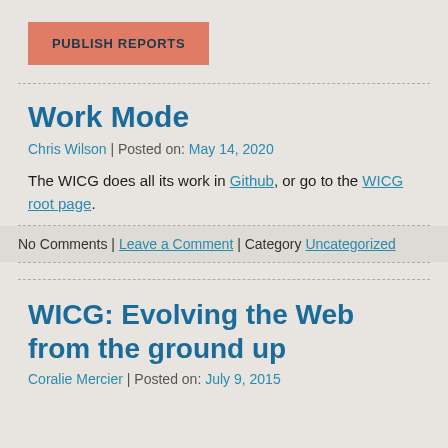PUBLISH REPORTS
Work Mode
Chris Wilson | Posted on: May 14, 2020
The WICG does all its work in Github, or go to the WICG root page.
No Comments | Leave a Comment | Category Uncategorized
WICG: Evolving the Web from the ground up
Coralie Mercier | Posted on: July 9, 2015